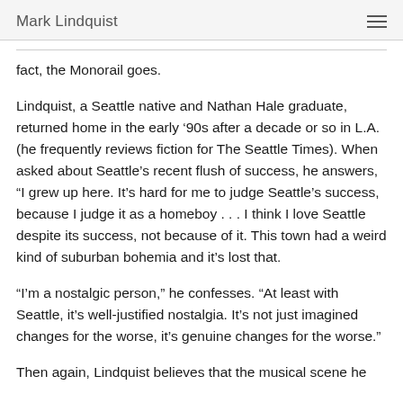Mark Lindquist
fact, the Monorail goes.
Lindquist, a Seattle native and Nathan Hale graduate, returned home in the early ’90s after a decade or so in L.A. (he frequently reviews fiction for The Seattle Times). When asked about Seattle’s recent flush of success, he answers, "I grew up here. It’s hard for me to judge Seattle’s success, because I judge it as a homeboy . . . I think I love Seattle despite its success, not because of it. This town had a weird kind of suburban bohemia and it’s lost that.
"I’m a nostalgic person," he confesses. "At least with Seattle, it’s well-justified nostalgia. It’s not just imagined changes for the worse, it’s genuine changes for the worse."
Then again, Lindquist believes that the musical scene he